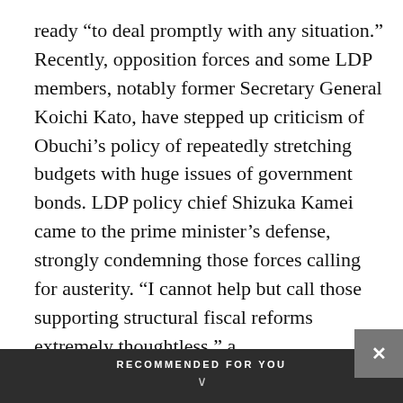ready “to deal promptly with any situation.” Recently, opposition forces and some LDP members, notably former Secretary General Koichi Kato, have stepped up criticism of Obuchi’s policy of repeatedly stretching budgets with huge issues of government bonds. LDP policy chief Shizuka Kamei came to the prime minister’s defense, strongly condemning those forces calling for austerity. “I cannot help but call those supporting structural fiscal reforms extremely thoughtless,” a
RECOMMENDED FOR YOU
[Figure (photo): Thumbnail photo showing a person wearing blue gloves handling equipment]
Japan looks to sewage to gain new insight into state of pandemic